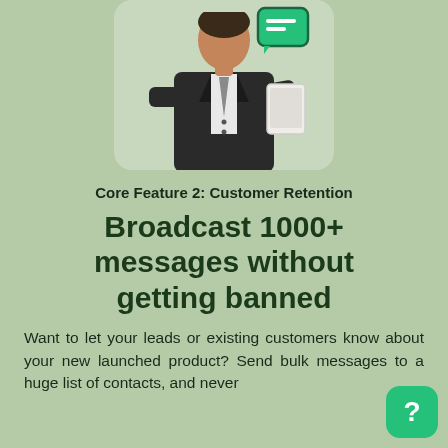[Figure (photo): A businessman in a dark suit holding a tablet device, with a green chat/message icon bubble in the upper right of the image. The background of the photo area is rounded with a light greenish tint.]
Core Feature 2: Customer Retention
Broadcast 1000+ messages without getting banned
Want to let your leads or existing customers know about your new launched product? Send bulk messages to a huge list of contacts, and never